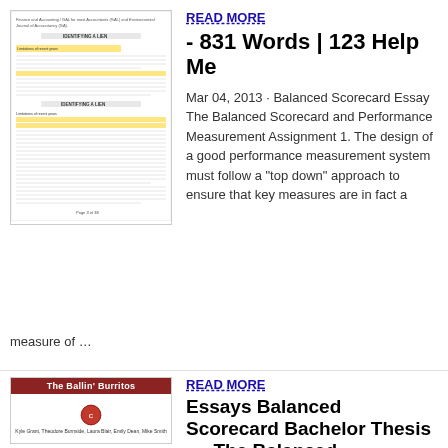[Figure (screenshot): Thumbnail of a scanned academic document page with highlighted text sections]
READ MORE
- 831 Words | 123 Help Me
Mar 04, 2013 · Balanced Scorecard Essay The Balanced Scorecard and Performance Measurement Assignment 1. The design of a good performance measurement system must follow a "top down" approach to ensure that key measures are in fact a
measure of …
[Figure (screenshot): Thumbnail of 'The Ballin' Burritos' document with Chipotle logo and author names]
READ MORE
Essays Balanced Scorecard Bachelor Thesis - – The Balanced